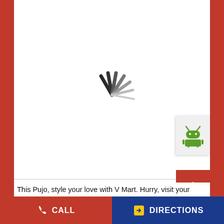[Figure (screenshot): Loading spinner (activity indicator) showing animated spokes radiating from center, partially faded, on white background]
[Figure (logo): Android robot logo icon in green on a light gray card/badge, positioned at upper right]
[Figure (other): Red scroll-to-top button with white upward-pointing chevron/caret icon]
This Pujo, style your love with V Mart. Hurry, visit your nearest store or shop online. #CelebrateFashionably
CALL   DIRECTIONS